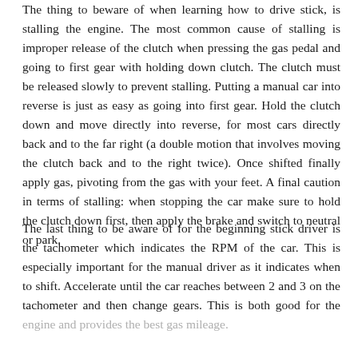The thing to beware of when learning how to drive stick, is stalling the engine. The most common cause of stalling is improper release of the clutch when pressing the gas pedal and going to first gear with holding down clutch. The clutch must be released slowly to prevent stalling. Putting a manual car into reverse is just as easy as going into first gear. Hold the clutch down and move directly into reverse, for most cars directly back and to the far right (a double motion that involves moving the clutch back and to the right twice). Once shifted finally apply gas, pivoting from the gas with your feet. A final caution in terms of stalling: when stopping the car make sure to hold the clutch down first, then apply the brake and switch to neutral or park.
The last thing to be aware of for the beginning stick driver is the tachometer which indicates the RPM of the car. This is especially important for the manual driver as it indicates when to shift. Accelerate until the car reaches between 2 and 3 on the tachometer and then change gears. This is both good for the engine and provides the best gas mileage.